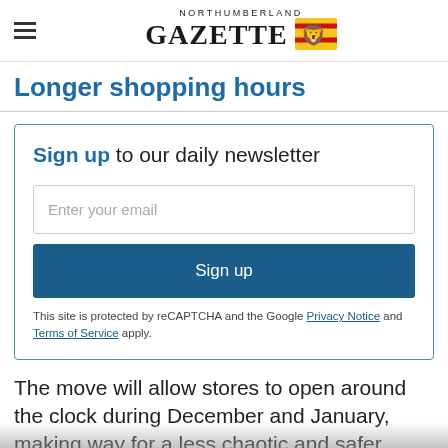NORTHUMBERLAND GAZETTE
Longer shopping hours
Sign up to our daily newsletter
Enter your email
Sign up
This site is protected by reCAPTCHA and the Google Privacy Notice and Terms of Service apply.
The move will allow stores to open around the clock during December and January, making way for a less chaotic and safer shopping...